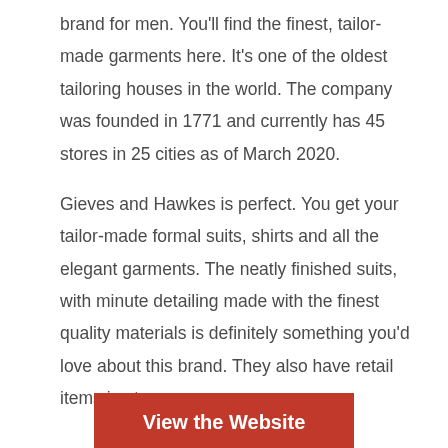brand for men. You'll find the finest, tailor-made garments here. It's one of the oldest tailoring houses in the world. The company was founded in 1771 and currently has 45 stores in 25 cities as of March 2020.
Gieves and Hawkes is perfect. You get your tailor-made formal suits, shirts and all the elegant garments. The neatly finished suits, with minute detailing made with the finest quality materials is definitely something you'd love about this brand. They also have retail items in store.
View the Website